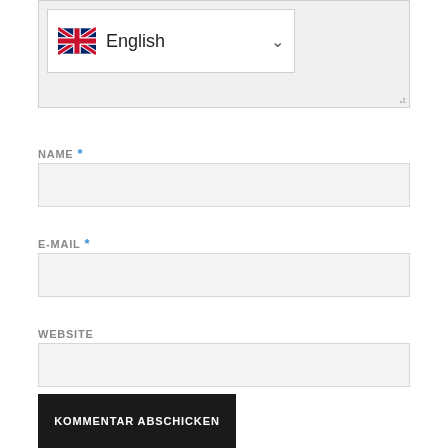[Figure (screenshot): Language dropdown selector showing UK flag and 'English' label with chevron]
NAME *
[Figure (screenshot): Empty text input field for NAME]
E-MAIL *
[Figure (screenshot): Empty text input field for E-MAIL]
WEBSITE
[Figure (screenshot): Empty text input field for WEBSITE]
KOMMENTAR ABSCHICKEN